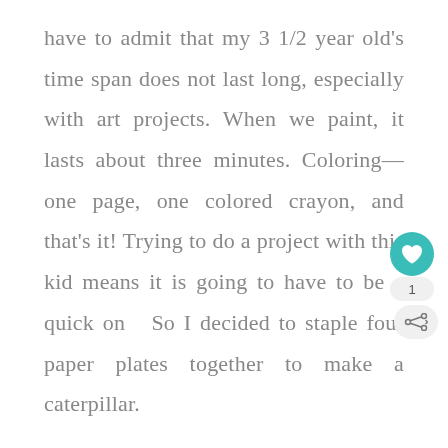have to admit that my 3 1/2 year old's time span does not last long, especially with art projects. When we paint, it lasts about three minutes. Coloring—one page, one colored crayon, and that's it! Trying to do a project with this kid means it is going to have to be a quick on  So I decided to staple four paper plates together to make a caterpillar.